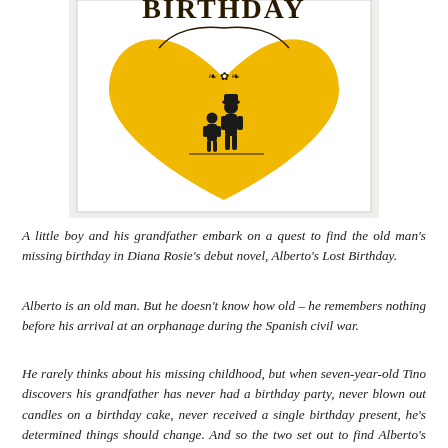[Figure (illustration): Book cover of Alberto's Lost Birthday showing a yellow heart shape with silhouettes of a man and a child, with decorative scrollwork and the partial title 'BIRTHDAY' visible at the top]
A little boy and his grandfather embark on a quest to find the old man's missing birthday in Diana Rosie's debut novel, Alberto's Lost Birthday.
Alberto is an old man. But he doesn't know how old – he remembers nothing before his arrival at an orphanage during the Spanish civil war.
He rarely thinks about his missing childhood, but when seven-year-old Tino discovers his grandfather has never had a birthday party, never blown out candles on a birthday cake, never received a single birthday present, he's determined things should change. And so the two set out to find Alberto's birthday.